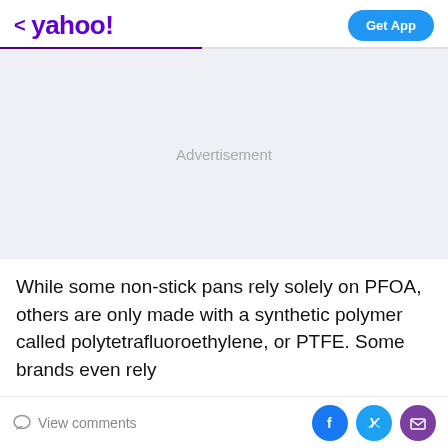yahoo! Get App
[Figure (other): Advertisement placeholder area with light blue-grey background and 'Advertisement' label in grey text]
While some non-stick pans rely solely on PFOA, others are only made with a synthetic polymer called polytetrafluoroethylene, or PTFE. Some brands even rely
View comments | Facebook share | Twitter share | Mail share